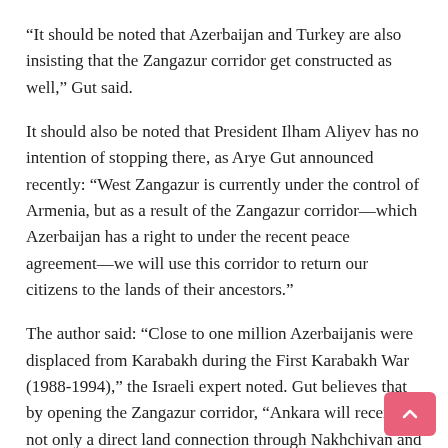“It should be noted that Azerbaijan and Turkey are also insisting that the Zangazur corridor get constructed as well,” Gut said.
It should also be noted that President Ilham Aliyev has no intention of stopping there, as Arye Gut announced recently: “West Zangazur is currently under the control of Armenia, but as a result of the Zangazur corridor—which Azerbaijan has a right to under the recent peace agreement—we will use this corridor to return our citizens to the lands of their ancestors.”
The author said: “Close to one million Azerbaijanis were displaced from Karabakh during the First Karabakh War (1988-1994),” the Israeli expert noted. Gut believes that by opening the Zangazur corridor, “Ankara will receive not only a direct land connection through Nakhchivan and the aforementioned corridor with the rest of Azerbaijan but also direct access to the Turkic-speaking countries and markets of Central Asia because such a route would be shorter and cheaper. Currently, to deliver goods there, Turkish trucks mainly travel through Russia and Georgia.”